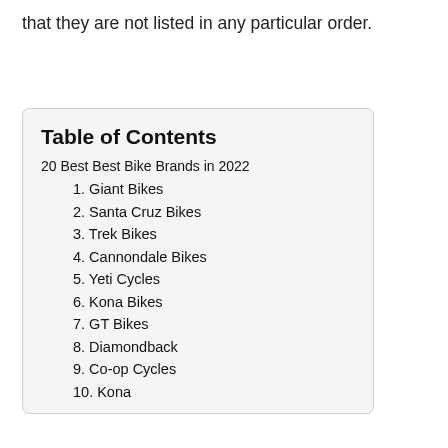that they are not listed in any particular order.
Table of Contents
20 Best Best Bike Brands in 2022
1. Giant Bikes
2. Santa Cruz Bikes
3. Trek Bikes
4. Cannondale Bikes
5. Yeti Cycles
6. Kona Bikes
7. GT Bikes
8. Diamondback
9. Co-op Cycles
10. Kona... (partial)